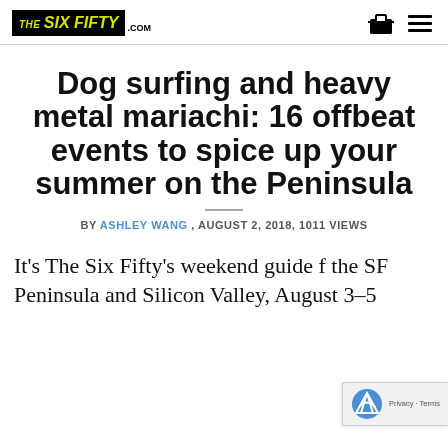THE SIX FIFTY .COM
Dog surfing and heavy metal mariachi: 16 offbeat events to spice up your summer on the Peninsula
BY ASHLEY WANG , AUGUST 2, 2018, 1011 VIEWS
It's The Six Fifty's weekend guide f the SF Peninsula and Silicon Valley, August 3–5